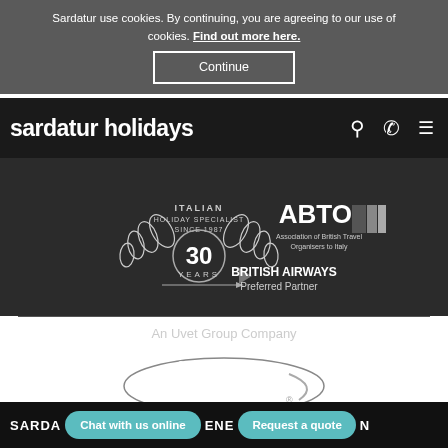Sardatur use cookies. By continuing, you are agreeing to our use of cookies. Find out more here.
Continue
sardatur holidays
[Figure (logo): Italian Holiday Specialist Since 1987 - 30 Years badge, ABTOI Association of British Travel Organisers to Italy logo, British Airways Preferred Partner logo]
An Uvet Group Company
[Figure (logo): Uvet logo - oval shape with stylized 'uvet' text in white]
SARDA... Chat with us online ... ENER... Request a quote ...N